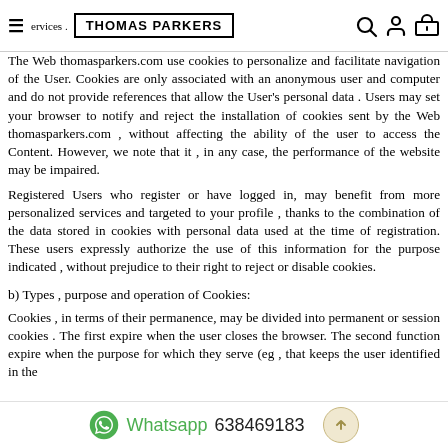≡ services . THOMAS PARKERS [search] [user] [store]
The Web thomasparkers.com use cookies to personalize and facilitate navigation of the User. Cookies are only associated with an anonymous user and computer and do not provide references that allow the User's personal data . Users may set your browser to notify and reject the installation of cookies sent by the Web thomasparkers.com , without affecting the ability of the user to access the Content. However, we note that it , in any case, the performance of the website may be impaired.
Registered Users who register or have logged in, may benefit from more personalized services and targeted to your profile , thanks to the combination of the data stored in cookies with personal data used at the time of registration. These users expressly authorize the use of this information for the purpose indicated , without prejudice to their right to reject or disable cookies.
b) Types , purpose and operation of Cookies:
Cookies , in terms of their permanence, may be divided into permanent or session cookies . The first expire when the user closes the browser. The second function expire when the purpose for which they serve (eg , that keeps the user identified in the
Whatsapp 638469183